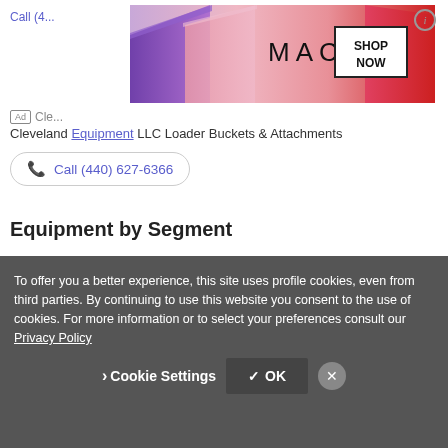[Figure (screenshot): MAC cosmetics advertisement banner showing lipsticks in purple, pink, and red with MAC logo and SHOP NOW box]
Cleveland Equipment LLC Loader Buckets & Attachments
Call (440) 627-6366
Equipment by Segment
Construction Equipment (2)
To offer you a better experience, this site uses profile cookies, even from third parties. By continuing to use this website you consent to the use of cookies. For more information or to select your preferences consult our Privacy Policy